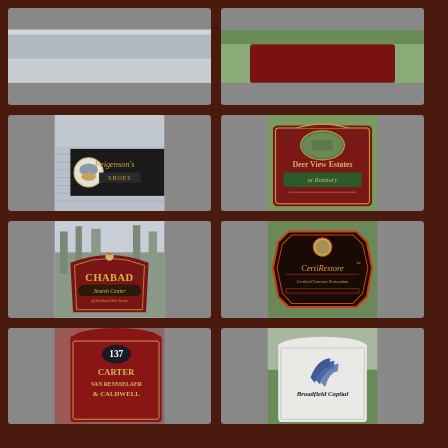[Figure (photo): Top-left photo: partially visible sign, cropped at top]
[Figure (photo): Top-right photo: partially visible sign, cropped at top]
[Figure (photo): Feigenson's Shoes storefront sign with logo]
[Figure (photo): Deer View Estates at Roxbury sign, dark red with oval photo of deer]
[Figure (photo): Chabad Jewish Center of Northwest New Jersey sign]
[Figure (photo): CertiRestore Certified Furniture Restoration sign, dark ornate]
[Figure (photo): 137 Carter Van Rensselaer & Caldwell sign, dark red]
[Figure (photo): Broadfield Capital sign, white with logo]